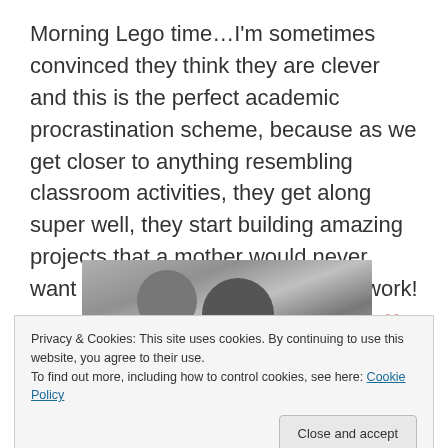Morning Lego time…I'm sometimes convinced they think they are clever and this is the perfect academic procrastination scheme, because as we get closer to anything resembling classroom activities, they get along super well, they start building amazing projects that a mother would never want to stop in exchange for book work! You've never seen such team work! ❤
[Figure (photo): Black and white photo of two children bent over, appearing to be playing with Lego on the floor, viewed from behind/above]
Privacy & Cookies: This site uses cookies. By continuing to use this website, you agree to their use.
To find out more, including how to control cookies, see here: Cookie Policy
Close and accept